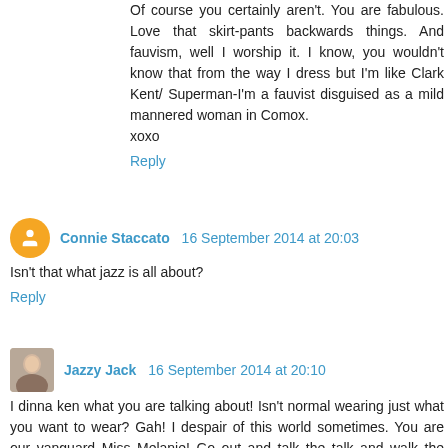Of course you certainly aren't. You are fabulous. Love that skirt-pants backwards things. And fauvism, well I worship it. I know, you wouldn't know that from the way I dress but I'm like Clark Kent/ Superman-I'm a fauvist disguised as a mild mannered woman in Comox.
xoxo
Reply
Connie Staccato  16 September 2014 at 20:03
Isn't that what jazz is all about?
Reply
Jazzy Jack  16 September 2014 at 20:10
I dinna ken what you are talking about! Isn't normal wearing just what you want to wear? Gah! I despair of this world sometimes. You are our vanguard Miss Melanie! Go out and talk the talk and walk the walk. We are walking, in our individually gorgeous ways beside you!xo JJ